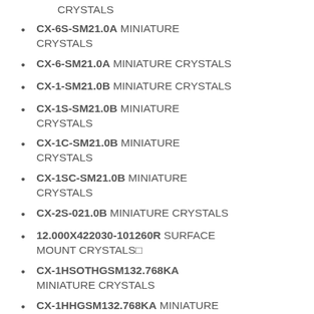CX-6S-SM21.0A MINIATURE CRYSTALS
CX-6-SM21.0A MINIATURE CRYSTALS
CX-1-SM21.0B MINIATURE CRYSTALS
CX-1S-SM21.0B MINIATURE CRYSTALS
CX-1C-SM21.0B MINIATURE CRYSTALS
CX-1SC-SM21.0B MINIATURE CRYSTALS
CX-2S-021.0B MINIATURE CRYSTALS
12.000X422030-101260R SURFACE MOUNT CRYSTALS□
CX-1HSOTHGSM132.768KA MINIATURE CRYSTALS
CX-1HHGSM132.768KA MINIATURE CRYSTALS
CX-1HSOTHGSM132.768KB